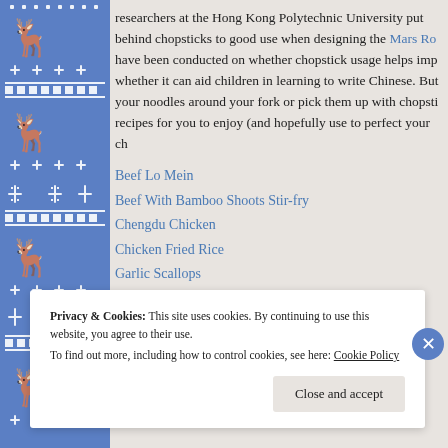[Figure (illustration): Blue decorative border with Nordic/Fair Isle pattern featuring reindeer, snowflakes, and geometric motifs in white on blue background]
researchers at the Hong Kong Polytechnic University put behind chopsticks to good use when designing the Mars Ro have been conducted on whether chopstick usage helps imp whether it can aid children in learning to write Chinese. But your noodles around your fork or pick them up with chopsti recipes for you to enjoy (and hopefully use to perfect your ch
Beef Lo Mein
Beef With Bamboo Shoots Stir-fry
Chengdu Chicken
Chicken Fried Rice
Garlic Scallops
Pork Chops With Sweet Red Bean Paste
Privacy & Cookies: This site uses cookies. By continuing to use this website, you agree to their use. To find out more, including how to control cookies, see here: Cookie Policy
Close and accept